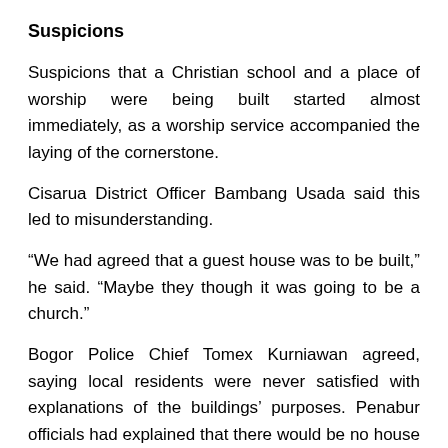Suspicions
Suspicions that a Christian school and a place of worship were being built started almost immediately, as a worship service accompanied the laying of the cornerstone.
Cisarua District Officer Bambang Usada said this led to misunderstanding.
“We had agreed that a guest house was to be built,” he said. “Maybe they though it was going to be a church.”
Bogor Police Chief Tomex Kurniawan agreed, saying local residents were never satisfied with explanations of the buildings’ purposes. Penabur officials had explained that there would be no house of worship and that a guest house was being constructed with permission of the Bogor government.